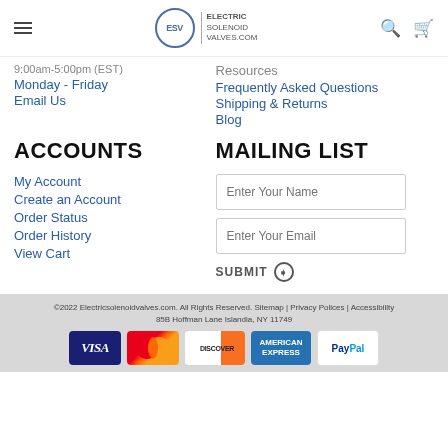ESV | Electric Solenoid Valves .com
9:00am-5:00pm (EST)
Monday - Friday
Email Us
Resources
Frequently Asked Questions
Shipping & Returns
Blog
ACCOUNTS
MAILING LIST
My Account
Create an Account
Order Status
Order History
View Cart
Enter Your Name
Enter Your Email
SUBMIT
©2022 Electricsolenoidvalves.com. All Rights Reserved. Sitemap | Privacy Polices | Accessibility 85B Hoffman Lane Islandia, NY 11749